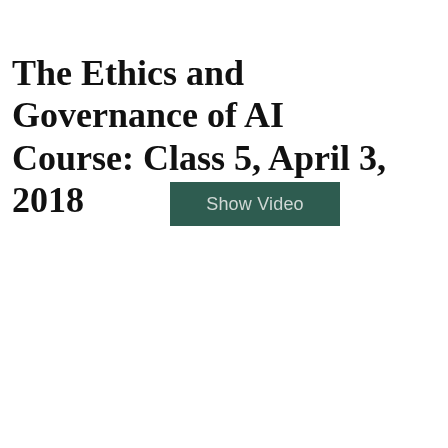The Ethics and Governance of AI Course: Class 5, April 3, 2018
[Figure (other): A teal/dark green rectangular button labeled 'Show Video']